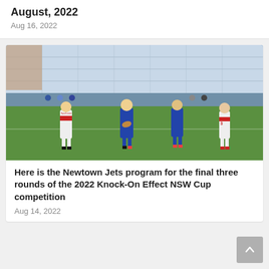August, 2022
Aug 16, 2022
[Figure (photo): Rugby league match photo showing players in blue Newtown Jets jerseys running with the ball, opposed by players in white and red jerseys with number 20, on a grass field with stadium seating visible in background.]
Here is the Newtown Jets program for the final three rounds of the 2022 Knock-On Effect NSW Cup competition
Aug 14, 2022